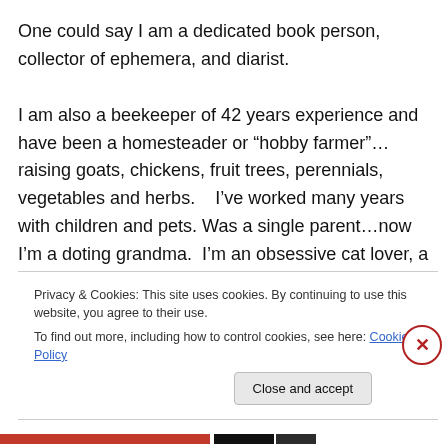One could say I am a dedicated book person, collector of ephemera, and diarist.

I am also a beekeeper of 42 years experience and have been a homesteader or “hobby farmer”…raising goats, chickens, fruit trees, perennials, vegetables and herbs.    I’ve worked many years with children and pets.  Was a single parent…now I’m a doting grandma.  I’m an obsessive cat lover, a collector of houseplants.    I love belly dance and all forms of dance, though at my age it is all from the sidelines.    A long time ago I spent 8 years in
Privacy & Cookies: This site uses cookies. By continuing to use this website, you agree to their use.
To find out more, including how to control cookies, see here: Cookie Policy
Close and accept